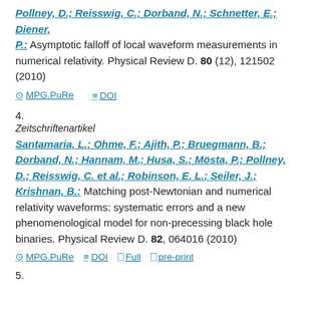Pollney, D.; Reisswig, C.; Dorband, N.; Schnetter, E.; Diener, P.: Asymptotic falloff of local waveform measurements in numerical relativity. Physical Review D. 80 (12), 121502 (2010)
MPG.PuRe   DOI
4.
Zeitschriftenartikel
Santamaria, L.; Ohme, F.; Ajith, P.; Bruegmann, B.; Dorband, N.; Hannam, M.; Husa, S.; Mösta, P.; Pollney, D.; Reisswig, C. et al.; Robinson, E. L.; Seiler, J.; Krishnan, B.: Matching post-Newtonian and numerical relativity waveforms: systematic errors and a new phenomenological model for non-precessing black hole binaries. Physical Review D. 82, 064016 (2010)
MPG.PuRe   DOI   Full   pre-print
5.